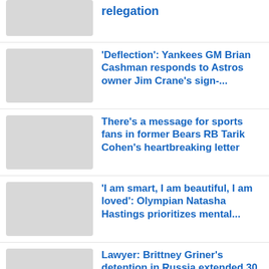relegation
'Deflection': Yankees GM Brian Cashman responds to Astros owner Jim Crane's sign-...
There's a message for sports fans in former Bears RB Tarik Cohen's heartbreaking letter
'I am smart, I am beautiful, I am loved': Olympian Natasha Hastings prioritizes mental...
Lawyer: Brittney Griner's detention in Russia extended 30 days following court...
Man City unveils statue...